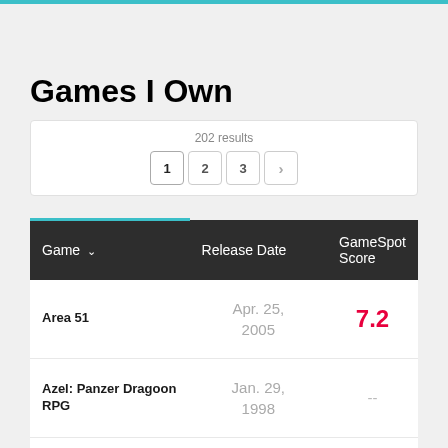Games I Own
202 results
| Game | Release Date | GameSpot Score |
| --- | --- | --- |
| Area 51 | Apr. 25, 2005 | 7.2 |
| Azel: Panzer Dragoon RPG | Jan. 29, 1998 | -- |
| Banjo to Kazooie no Daibouken | Dec. 6, 1998 | -- 10 |